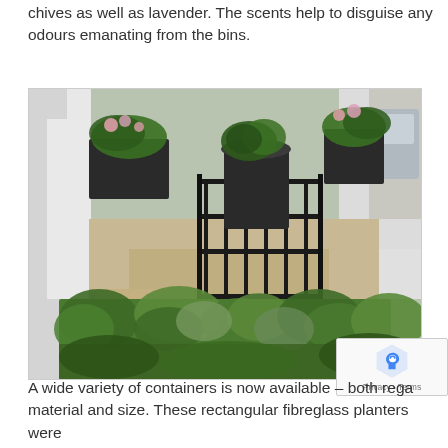chives as well as lavender. The scents help to disguise any odours emanating from the bins.
[Figure (photo): Aerial view of a front garden with iron gate, lush green herb plantings including lavender and other herbs, white walls on both sides, and a car visible on the street beyond.]
A wide variety of containers is now available – both rega material and size. These rectangular fibreglass planters were